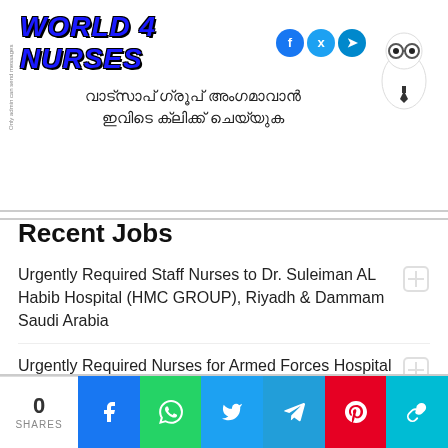[Figure (logo): World 4 Nurses website header banner with Malayalam text 'വാട്‌സാപ്‌ ഗ്രൂപ്‌ അംഗമാവാൻ ഇവിടെ ക്ലിക്ക് ചെയ്യുക', social media icons (Facebook, Twitter, Telegram), and a cartoon mascot character]
Recent Jobs
Urgently Required Staff Nurses to Dr. Suleiman AL Habib Hospital (HMC GROUP), Riyadh & Dammam Saudi Arabia
Urgently Required Nurses for Armed Forces Hospital Saudi Arabia (MOD)
0 SHARES | Facebook | WhatsApp | Twitter | Telegram | Pinterest | Copy Link